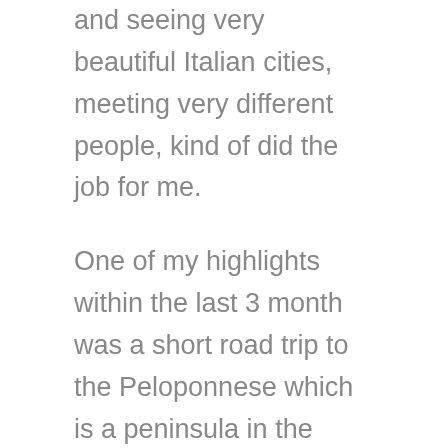and seeing very beautiful Italian cities, meeting very different people, kind of did the job for me.
One of my highlights within the last 3 month was a short road trip to the Peloponnese which is a peninsula in the south-west of Greece. It has a lot of different archeological sites, beautiful nature and beaches and interesting old cities. BUT everything started with a disaster. Originally, I started to plan this trip with 5 friends of mine. We wanted to go to Peloponnese with a big car for one week. Unfortunately, their roommates including one of my friend got covid and ALL of them had to go into quarantine. That happened 2 DAYS BEFORE we wanted to hit the road. I did not have to go into quarantine. That's why I had to make a decision: To stay or go anyway. I decided to go anyway. I packed my stuff, planned a route and made everything ready to go. Then a surprise happened only hours before I wanted to leave: Another volunteer which I did not have much contact with before joined me because he wanted